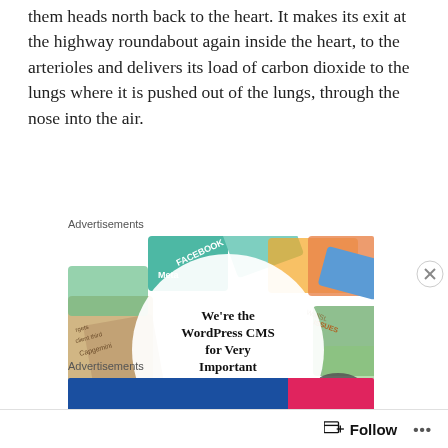them heads north back to the heart. It makes its exit at the highway roundabout again inside the heart, to the arterioles and delivers its load of carbon dioxide to the lungs where it is pushed out of the lungs, through the nose into the air.
Advertisements
[Figure (illustration): WordPress VIP advertisement showing a mosaic of company logos/cards in the background with a white circle overlay containing the text: We're the WordPress CMS for Very Important Content, with a WordPress VIP logo and a Learn more button.]
Advertisements
[Figure (screenshot): Blue advertisement banner with pink button element partially visible]
Follow